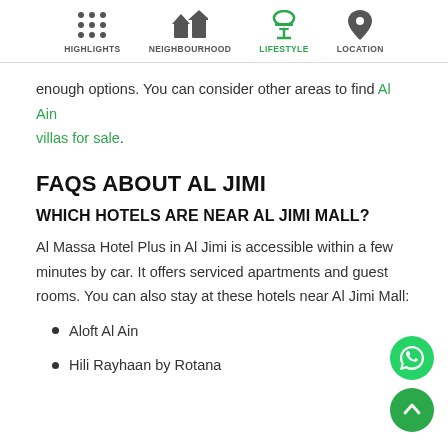HIGHLIGHTS | NEIGHBOURHOOD | LIFESTYLE | LOCATION
enough options. You can consider other areas to find Al Ain villas for sale.
FAQS ABOUT AL JIMI
WHICH HOTELS ARE NEAR AL JIMI MALL?
Al Massa Hotel Plus in Al Jimi is accessible within a few minutes by car. It offers serviced apartments and guest rooms. You can also stay at these hotels near Al Jimi Mall:
Aloft Al Ain
Hili Rayhaan by Rotana